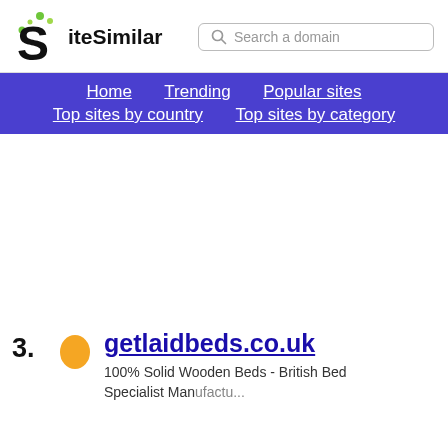SiteSimilar — Search a domain — Home | Trending | Popular sites | Top sites by country | Top sites by category
3. getlaidbeds.co.uk — 100% Solid Wooden Beds - British Bed Specialist Manufacturer...